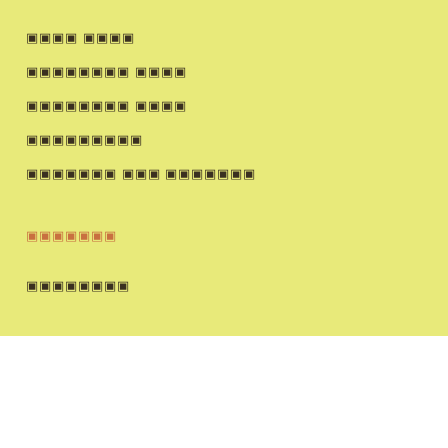████ ████
████████ ████
████████ ████
█████████
███████ ███ ███████
███████
████████
████████